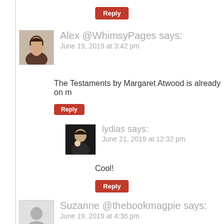Reply
[Figure (photo): Avatar photo of Alex @WhimsyPages, a woman with dark hair]
Alex @WhimsyPages says:
June 19, 2019 at 3:42 pm
The Testaments by Margaret Atwood is already on m
Reply
[Figure (photo): Avatar photo of lydias, a person in dark clothing holding a cup]
lydias says:
June 21, 2019 at 12:32 pm
Cool!
Reply
[Figure (photo): Generic user avatar silhouette placeholder]
Suzanne @thebookmagpie says:
June 19, 2019 at 4:36 pm
I totally forgot about Ta-Nehisi Coates' novel! That's
Reply
[Figure (photo): Avatar photo of lydias, a person in dark clothing holding a cup]
lydias says:
June 21, 2019 at 12:32 pm